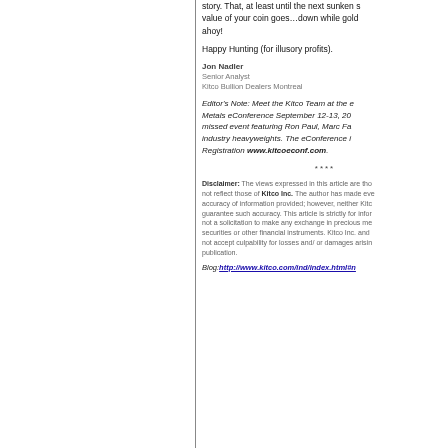story. That, at least until the next sunken ship story changes. The value of your coin goes…down while gold goes up. Treasure ahoy!
Happy Hunting (for illusory profits).
Jon Nadler
Senior Analyst
Kitco Bullion Dealers Montreal
Editor's Note: Meet the Kitco Team at the upcoming Hard Assets/ Precious Metals eConference September 12-13, 2009. This is a not to be missed event featuring Ron Paul, Marc Faber and many other industry heavyweights. The eConference is Free! Register Now! Registration www.kitcoeconf.com.
****
Disclaimer: The views expressed in this article are those of the author and do not reflect those of Kitco Inc. The author has made every effort to ensure accuracy of information provided; however, neither Kitco Inc. nor the author can guarantee such accuracy. This article is strictly for informational purposes and is not a solicitation to make any exchange in precious metals, commodity futures, securities or other financial instruments. Kitco Inc. and the author of this article do not accept culpability for losses and/ or damages arising from the use of this publication.
Blog: http://www.kitco.com/ind/index.html#nadler